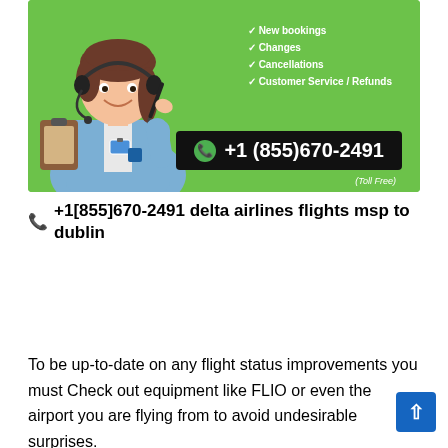[Figure (illustration): Green banner with a cartoon customer service agent wearing a headset and holding a clipboard, checklist of services (New bookings, Changes, Cancellations, Customer Service / Refunds), and a black phone number bar showing +1 (855)670-2491 with Toll Free label]
📞+1[855]670-2491 delta airlines flights msp to dublin
To be up-to-date on any flight status improvements you must Check out equipment like FLIO or even the airport you are flying from to avoid undesirable surprises.